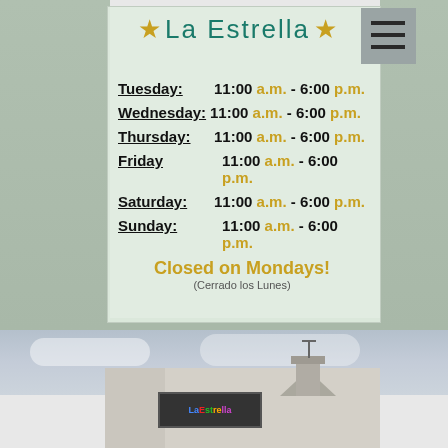[Figure (photo): Photo of a store window sign for La Estrella showing business hours. Two gold stars flank the name 'La Estrella' in teal. Hours listed Tuesday through Sunday 11:00 a.m. - 6:00 p.m. Closed on Mondays (Cerrado los Lunes). A gray hamburger menu icon in top right corner.]
[Figure (photo): Exterior photo of La Estrella store building with a sign reading 'La Estrella' in colorful letters on the facade, overcast sky in background.]